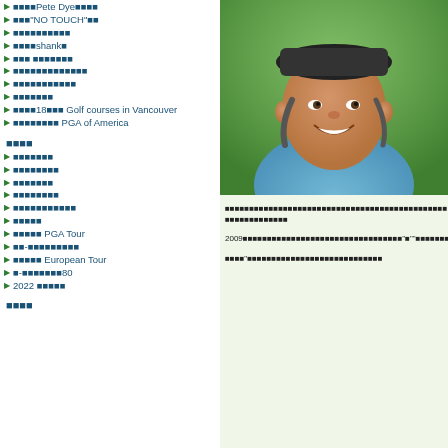■■■■Pete Dye■■■■
■■■"NO TOUCH"■■
■■■■■■■■■■
■■■■shank■
■■■ ■■■■■■■
■■■■■■■■■■■■■
■■■■■■■■■■■
■■■■■■■
■■■■18■■■ Golf courses in Vancouver
■■■■■■■■ PGA of America
■■■■
■■■■■■■
■■■■■■■■
■■■■■■■
■■■■■■■■
■■■■■■■■■■■
■■■■■
■■■■■ PGA Tour
■■-■■■■■■■■■
■■■■■ European Tour
■-■■■■■■■80
2022 ■■■■■
■■■■
[Figure (photo): Man smiling, wearing a blue shirt and dark cap, outdoors golf setting]
■■■■■■■■■■■■■■■■■■■■■■■■■■■■■■■■■■■■■■■■■■■■■■ ■■■■■■■■■■■■■
2009■■■■■■■■■■■■■■■■■■■■■■■■■■■■■■■■■"■""■■■■■■■■■"■■■■■■■■■■■■■■■■
■■■■"■■■■■■■■■■■■■■■■■■■■■■■■■■■■